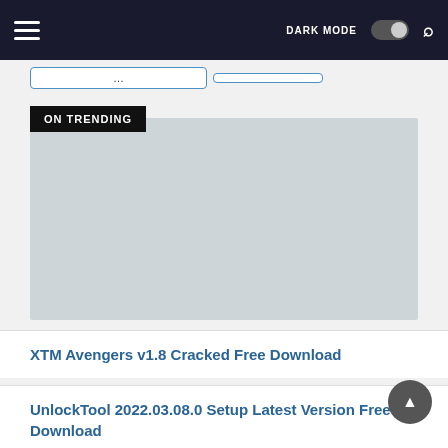Navigation bar with hamburger menu, DARK MODE toggle, and search icon
[Figure (screenshot): Partially visible tab/filter bar with two outlined button tabs]
ON TRENDING
[Figure (photo): Large light grey placeholder image for trending article]
XTM Avengers v1.8 Cracked Free Download
UnlockTool 2022.03.08.0 Setup Latest Version Free Download
Unlock Tool v2021.01.15 Setup Free